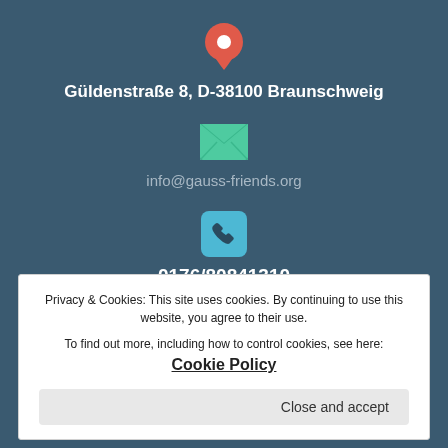[Figure (illustration): Red location pin icon]
Güldenstraße 8, D-38100 Braunschweig
[Figure (illustration): Green email envelope icon]
info@gauss-friends.org
[Figure (illustration): Teal rounded square with phone handset icon]
0176/80841310
Privacy & Cookies: This site uses cookies. By continuing to use this website, you agree to their use.
To find out more, including how to control cookies, see here: Cookie Policy
Close and accept